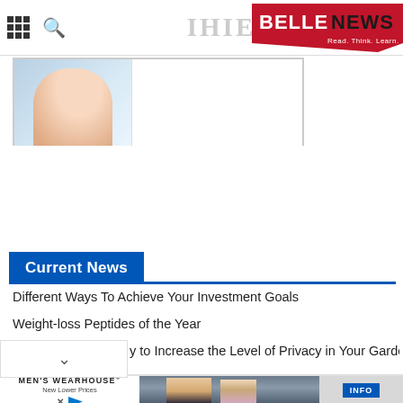BELLENEWS - Read. Think. Learn.
[Figure (photo): Partial hero image showing a person's face/neck on a light blue background with a white rectangle on the right side]
Current News
Different Ways To Achieve Your Investment Goals
Weight-loss Peptides of the Year
...y to Increase the Level of Privacy in Your Garden
[Figure (photo): Advertisement banner for Men's Wearhouse featuring a couple in formal wear and a man in a suit, with INFO button]